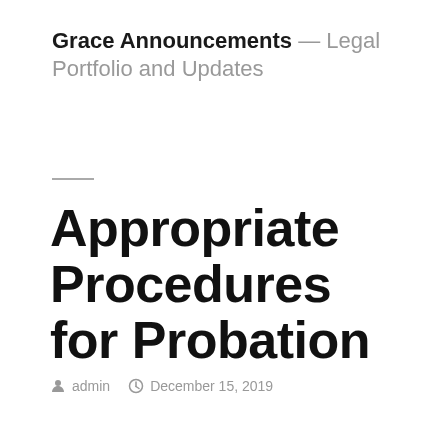Grace Announcements — Legal Portfolio and Updates
Appropriate Procedures for Probation
admin   December 15, 2019